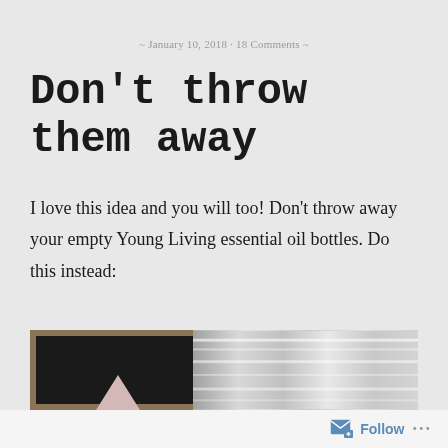~ January 10, 2018 · 18 Comments ~
Don't throw them away
I love this idea and you will too! Don't throw away your empty Young Living essential oil bottles. Do this instead:
[Figure (photo): Photo showing a framed chalkboard with a pink triangle shape on the left, and a large glass jar on the right, partially cropped at bottom of page.]
Follow